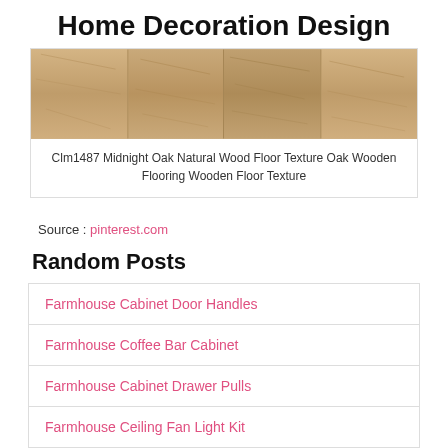Home Decoration Design
[Figure (photo): Wooden flooring texture image showing light oak planks]
Clm1487 Midnight Oak Natural Wood Floor Texture Oak Wooden Flooring Wooden Floor Texture
Source : pinterest.com
Random Posts
Farmhouse Cabinet Door Handles
Farmhouse Coffee Bar Cabinet
Farmhouse Cabinet Drawer Pulls
Farmhouse Ceiling Fan Light Kit